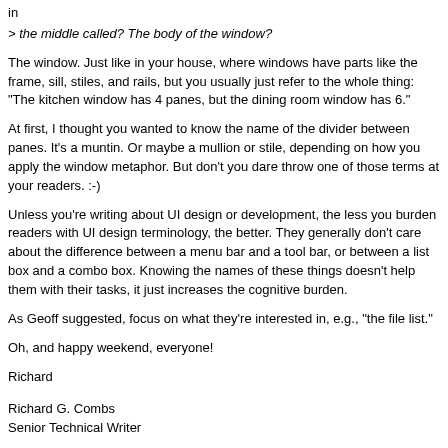in
> the middle called? The body of the window?
The window. Just like in your house, where windows have parts like the frame, sill, stiles, and rails, but you usually just refer to the whole thing: "The kitchen window has 4 panes, but the dining room window has 6."
At first, I thought you wanted to know the name of the divider between panes. It's a muntin. Or maybe a mullion or stile, depending on how you apply the window metaphor. But don't you dare throw one of those terms at your readers. :-)
Unless you're writing about UI design or development, the less you burden readers with UI design terminology, the better. They generally don't care about the difference between a menu bar and a tool bar, or between a list box and a combo box. Knowing the names of these things doesn't help them with their tasks, it just increases the cognitive burden.
As Geoff suggested, focus on what they're interested in, e.g., "the file list."
Oh, and happy weekend, everyone!
Richard
Richard G. Combs
Senior Technical Writer